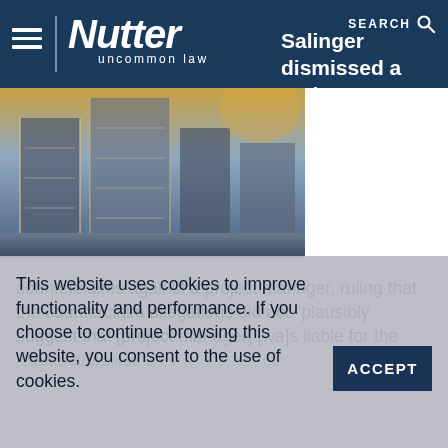Nutter — uncommon law
Salinger dismissed a real estate developer's
[Figure (photo): Construction site with steel framework and scaffolding of a large building under construction, golden and blue tones.]
counterclaims against a project manager, ruling that the counterclaim allegations did not "plausibly suggest that [project manager] [wa]s liable for the [contract/project...]"
This website uses cookies to improve functionality and performance. If you choose to continue browsing this website, you consent to the use of cookies.